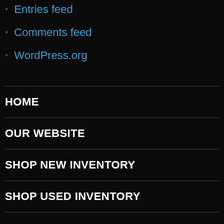Entries feed
Comments feed
WordPress.org
HOME
OUR WEBSITE
SHOP NEW INVENTORY
SHOP USED INVENTORY
GET HOURS AND DIRECTIONS
ABOUT DOWNTOWN AUTOGROUP